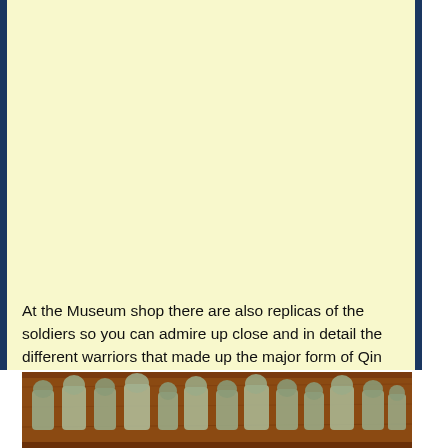At the Museum shop there are also replicas of the soldiers so you can admire up close and in detail the different warriors that made up the major form of Qin Shi Huang's Army: the Generals, the Officers, the Soldiers, the Charioteers, the Kneeling Archers, etc.
[Figure (photo): A row of small terracotta warrior replica figurines displayed on a wooden shelf or surface. The figurines depict various soldiers from Qin Shi Huang's Army in different poses.]